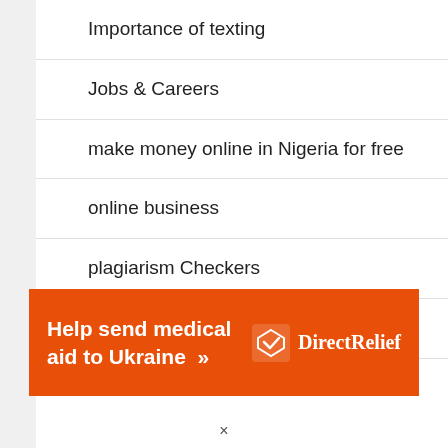Importance of texting
Jobs & Careers
make money online in Nigeria for free
online business
plagiarism Checkers
project management software
SEO
[Figure (infographic): Orange banner advertisement: 'Help send medical aid to Ukraine >>' with DirectRelief logo on the right]
×